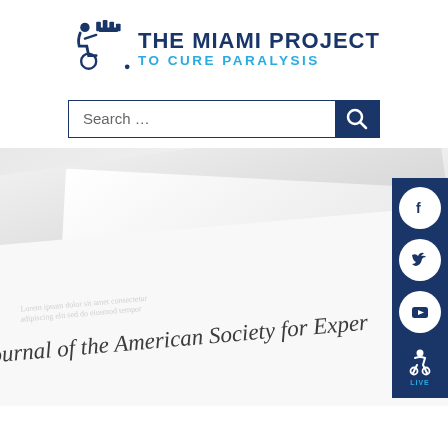[Figure (logo): The Miami Project to Cure Paralysis logo with wheelchair icon and text]
[Figure (screenshot): Search bar with magnifying glass button]
[Figure (photo): Close-up photo of a journal page reading 'ournal of the American Society for Exper...' with social media icons bar (Facebook, Twitter, YouTube, accessibility) on the right side]